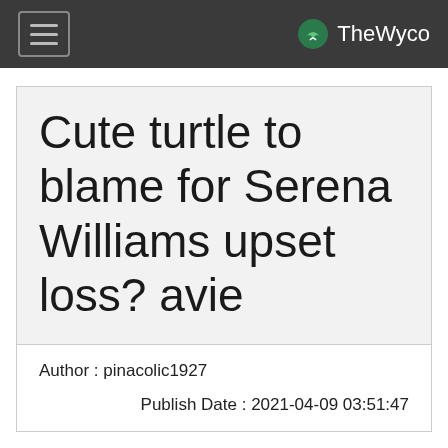TheWyco
Cute turtle to blame for Serena Williams upset loss? avie
Author : pinacolic1927
Publish Date : 2021-04-09 03:51:47